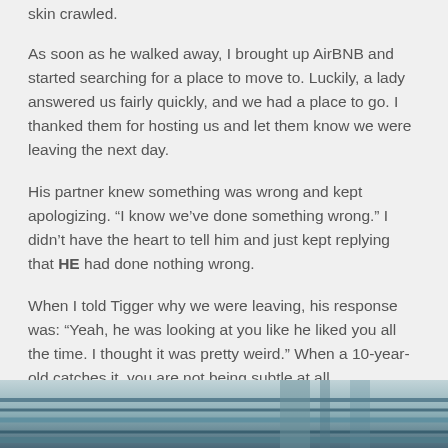skin crawled.
As soon as he walked away, I brought up AirBNB and started searching for a place to move to. Luckily, a lady answered us fairly quickly, and we had a place to go. I thanked them for hosting us and let them know we were leaving the next day.
His partner knew something was wrong and kept apologizing. “I know we’ve done something wrong.” I didn’t have the heart to tell him and just kept replying that HE had done nothing wrong.
When I told Tigger why we were leaving, his response was: “Yeah, he was looking at you like he liked you all the time. I thought it was pretty weird.” When a 10-year-old catches it, you are not being subtle at all.
[Figure (photo): Partial photo visible at bottom of page showing what appears to be mechanical or industrial pipes/cables in teal/grey tones]